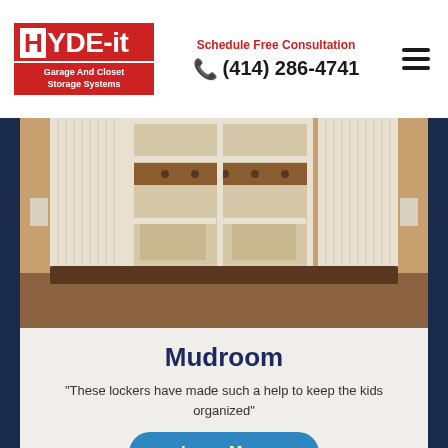HYDE-it Garage And Closet Storage Systems | Schedule Free Consultation | (414) 286-4741
[Figure (photo): Mudroom locker storage system with white wood paneling, hanging bars, cubbies, and a dark wood bench seat]
Mudroom
"These lockers have made such a help to keep the kids organized"
Learn More